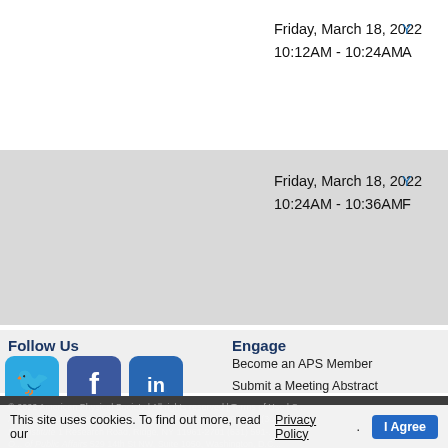| Date/Time | Link |
| --- | --- |
| Friday, March 18, 2022
10:12AM - 10:24AM | Y...
A... |
| Friday, March 18, 2022
10:24AM - 10:36AM | Y...
F... |
Follow Us
[Figure (infographic): Social media icons: Twitter (blue bird), Facebook (f, dark blue), LinkedIn (in, blue), RSS (orange), Google+ (g+, red), YouTube (red)]
Engage
Become an APS Member
Submit a Meeting Abstract
Submit a Manuscript
Find a Journal Article
Donate to APS
© 2022 American Physical Society | All rights reserved | Terms of Use | C...
Headquarters   1 Physics Ellipse, College Park, MD 20740-3844   (301)...
B... Institute   1 Research Road, Ridge, NY 11961-2701   (631) 591-...
O... of Public Affairs   529 14th St NW, Suite 1050, Washington, D.C...
This site uses cookies. To find out more, read our Privacy Policy.